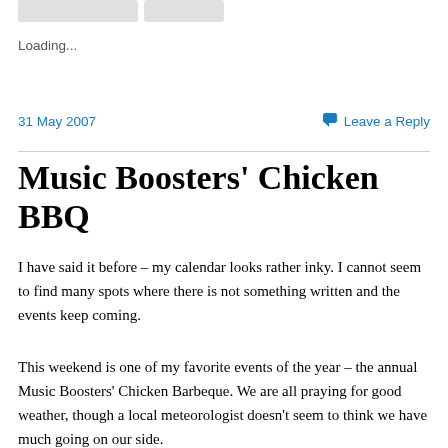Loading...
31 May 2007
Leave a Reply
Music Boosters' Chicken BBQ
I have said it before – my calendar looks rather inky. I cannot seem to find many spots where there is not something written and the events keep coming.
This weekend is one of my favorite events of the year – the annual Music Boosters' Chicken Barbeque. We are all praying for good weather, though a local meteorologist doesn't seem to think we have much going on our side.